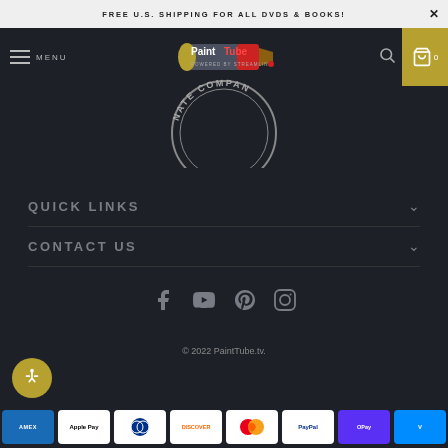FREE U.S. SHIPPING FOR ALL DVDS & BOOKS!
[Figure (logo): PaintTube logo — paint tube with PaintTube text, 'Powered by Streamline' below]
[Figure (illustration): Circular stamp/seal with text 'NATE COMPAN' visible, dark background]
QUICK LINKS
CONTACT US
[Figure (infographic): Social media icons: Facebook, YouTube, Pinterest, Instagram]
© 2022 PaintTube.tv.
[Figure (infographic): Payment icons: Amex, Apple Pay, Diners Club, Discover, Mastercard, PayPal, ShopPay, Venmo]